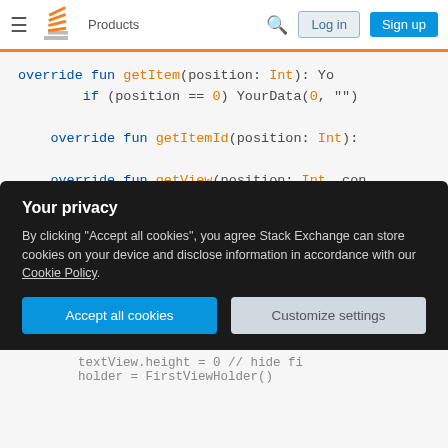≡  [Stack Overflow logo]  Products   🔍   Log in   Sign up
[Figure (screenshot): Code editor showing Kotlin override functions: getItem, getItemId, getView, getDropDownView with syntax highlighting — keywords in blue, function names in orange]
Your privacy
By clicking "Accept all cookies", you agree Stack Exchange can store cookies on your device and disclose information in accordance with our Cookie Policy.
[Accept all cookies]  [Customize settings]
textView.height = 0 // hide fi
holder = FirstViewHolder()